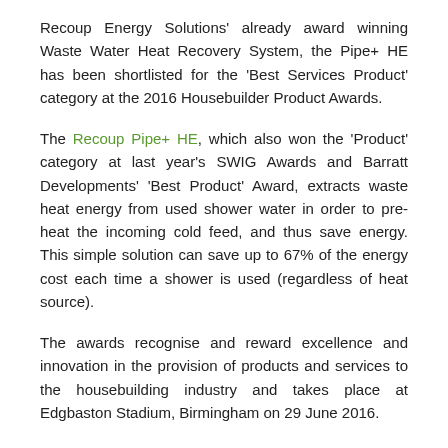Recoup Energy Solutions' already award winning Waste Water Heat Recovery System, the Pipe+ HE has been shortlisted for the 'Best Services Product' category at the 2016 Housebuilder Product Awards.
The Recoup Pipe+ HE, which also won the 'Product' category at last year's SWIG Awards and Barratt Developments' 'Best Product' Award, extracts waste heat energy from used shower water in order to pre-heat the incoming cold feed, and thus save energy. This simple solution can save up to 67% of the energy cost each time a shower is used (regardless of heat source).
The awards recognise and reward excellence and innovation in the provision of products and services to the housebuilding industry and takes place at Edgbaston Stadium, Birmingham on 29 June 2016.